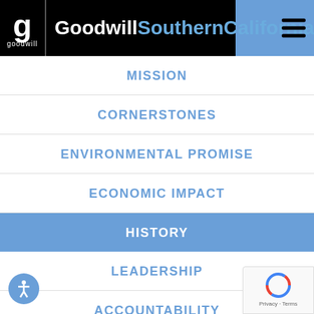GoodwillSouthernCalifornia
MISSION
CORNERSTONES
ENVIRONMENTAL PROMISE
ECONOMIC IMPACT
HISTORY
LEADERSHIP
ACCOUNTABILITY
RECOGNITION
PARTNERS